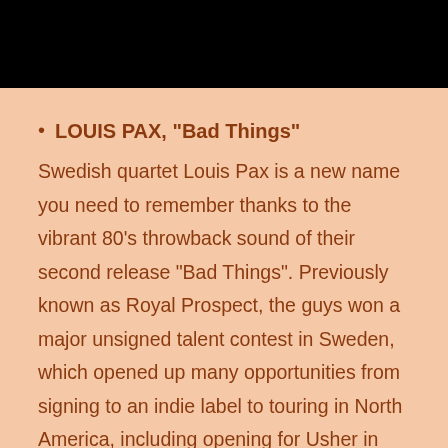[Figure (photo): Black rectangular image bar at the top of the page]
LOUIS PAX, “Bad Things”
Swedish quartet Louis Pax is a new name you need to remember thanks to the vibrant 80’s throwback sound of their second release “Bad Things”. Previously known as Royal Prospect, the guys won a major unsigned talent contest in Sweden, which opened up many opportunities from signing to an indie label to touring in North America, including opening for Usher in Sweden thanks to SXSW. The band have now redefined its sound, and lead singer Oscar Reingsdahl has one helluva beautifully sharp and on-key voice. “Bad Things” has plucked so many elements out of 80’s pop music, from vocal and melodic flourishes through to guitar riffs, and made it sound fresh again. Louis Pax is creating tasty ear candy for us, and we’ll all want